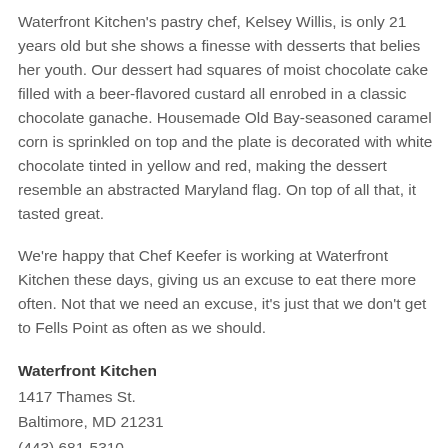Waterfront Kitchen's pastry chef, Kelsey Willis, is only 21 years old but she shows a finesse with desserts that belies her youth. Our dessert had squares of moist chocolate cake filled with a beer-flavored custard all enrobed in a classic chocolate ganache. Housemade Old Bay-seasoned caramel corn is sprinkled on top and the plate is decorated with white chocolate tinted in yellow and red, making the dessert resemble an abstracted Maryland flag. On top of all that, it tasted great.
We're happy that Chef Keefer is working at Waterfront Kitchen these days, giving us an excuse to eat there more often. Not that we need an excuse, it's just that we don't get to Fells Point as often as we should.
Waterfront Kitchen
1417 Thames St.
Baltimore, MD 21231
(443) 681-5310